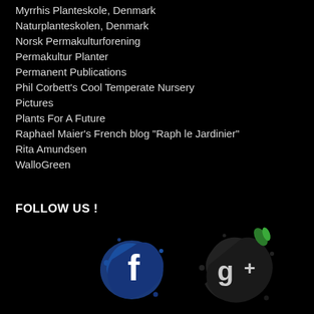Myrrhis Planteskole, Denmark
Naturplanteskolen, Denmark
Norsk Permakulturforening
Permakultur Planter
Permanent Publications
Phil Corbett's Cool Temperate Nursery Pictures
Plants For A Future
Raphael Maier's French blog "Raph le Jardinier"
Rita Amundsen
WalloGreen
FOLLOW US !
[Figure (logo): Facebook and Google+ social media icons as ink splat designs on black background]